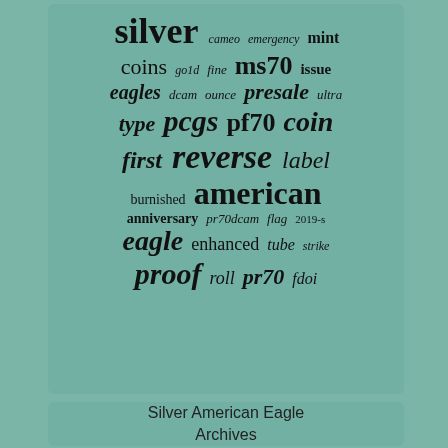[Figure (infographic): Word cloud with terms related to Silver American Eagle coins. Largest words: silver, american, reverse, pcgs, proof. Other terms: cameo, emergency, mint, coins, gold, fine, ms70, issue, eagles, dcam, ounce, presale, ultra, type, pf70, coin, first, label, burnished, anniversary, pr70dcam, flag, 2019-s, eagle, enhanced, tube, strike, roll, pr70, fdoi.]
Silver American Eagle Archives